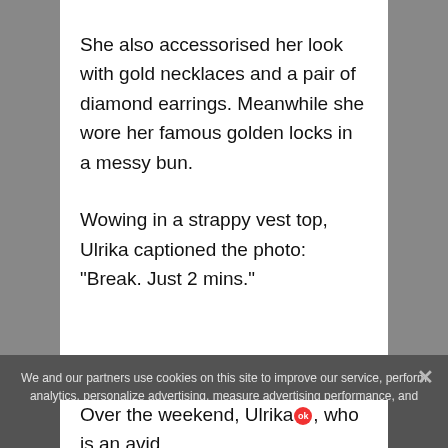She also accessorised her look with gold necklaces and a pair of diamond earrings. Meanwhile she wore her famous golden locks in a messy bun.
Wowing in a strappy vest top, Ulrika captioned the photo: "Break. Just 2 mins."
We and our partners use cookies on this site to improve our service, perform analytics, personalize advertising, measure advertising performance, and remember website preferences.
Over the weekend, Ulrika, who is an avid